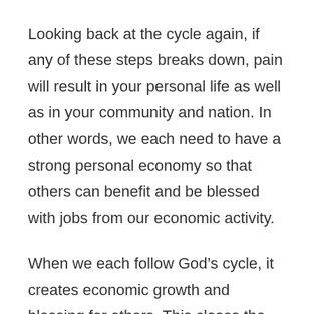Looking back at the cycle again, if any of these steps breaks down, pain will result in your personal life as well as in your community and nation. In other words, we each need to have a strong personal economy so that others can benefit and be blessed with jobs from our economic activity.
When we each follow God’s cycle, it creates economic growth and blessing for others. This closes the wealth gap, breaks dependency, and brings a just system for